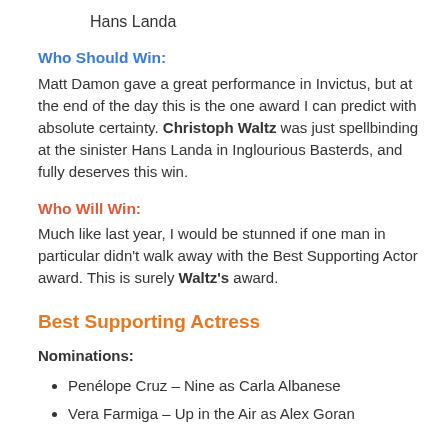Hans Landa
Who Should Win:
Matt Damon gave a great performance in Invictus, but at the end of the day this is the one award I can predict with absolute certainty. Christoph Waltz was just spellbinding at the sinister Hans Landa in Inglourious Basterds, and fully deserves this win.
Who Will Win:
Much like last year, I would be stunned if one man in particular didn't walk away with the Best Supporting Actor award. This is surely Waltz's award.
Best Supporting Actress
Nominations:
Penélope Cruz – Nine as Carla Albanese
Vera Farmiga – Up in the Air as Alex Goran